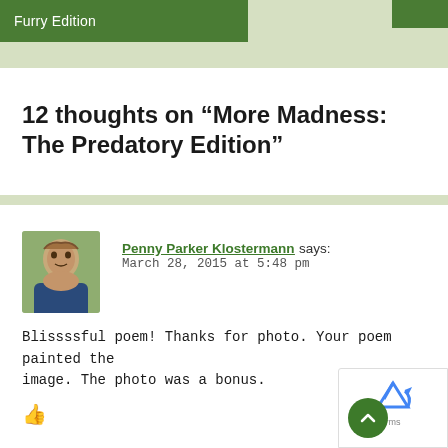Furry Edition
12 thoughts on “More Madness: The Predatory Edition”
Penny Parker Klostermann says:
March 28, 2015 at 5:48 pm
Blissssful poem! Thanks for photo. Your poem painted the image. The photo was a bonus.
[Figure (other): reCAPTCHA widget and scroll-to-top button]